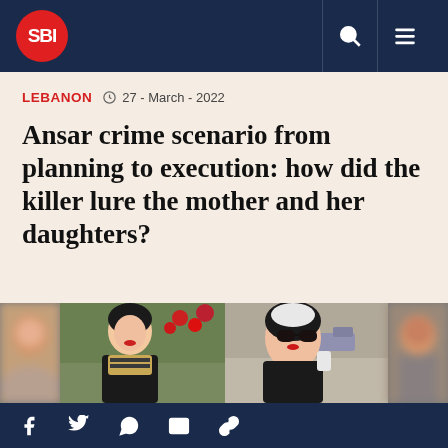SBI
LEBANON  27 - March - 2022
Ansar crime scenario from planning to execution: how did the killer lure the mother and her daughters?
[Figure (photo): Three photos of women, the leftmost and rightmost are blurred, the center two show women in dark jackets in outdoor settings]